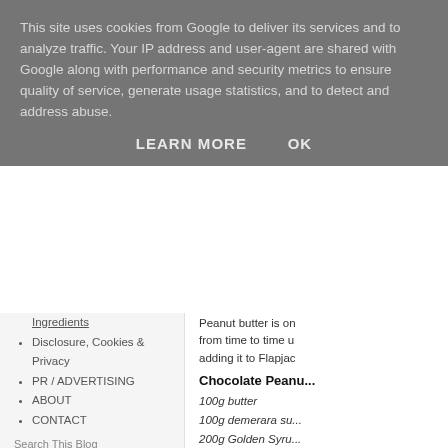This site uses cookies from Google to deliver its services and to analyze traffic. Your IP address and user-agent are shared with Google along with performance and security metrics to ensure quality of service, generate usage statistics, and to detect and address abuse.
LEARN MORE   OK
Ingredients
Disclosure, Cookies & Privacy
PR / ADVERTISING
ABOUT
CONTACT
Search This Blog
Peanut butter is on... from time to time u... adding it to Flapjad...
Chocolate Peanu...
100g butter
100g demerara su...
200g Golden Syru...
150g Crunchy Pea...
250g Jumbo Oats
200g Quick Cook O...
Topping
100g milk chocolat...
50g smooth peanu...
[Figure (other): LOCKDOWN GIFTS BY - promotional box/image in sidebar]